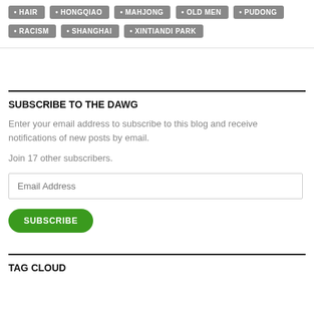HAIR
HONGQIAO
MAHJONG
OLD MEN
PUDONG
RACISM
SHANGHAI
XINTIANDI PARK
SUBSCRIBE TO THE DAWG
Enter your email address to subscribe to this blog and receive notifications of new posts by email.
Join 17 other subscribers.
TAG CLOUD